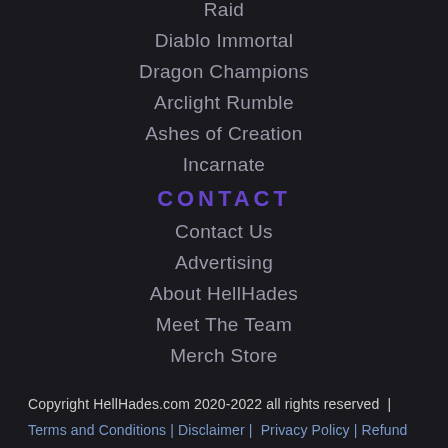Raid
Diablo Immortal
Dragon Champions
Arclight Rumble
Ashes of Creation
Incarnate
CONTACT
Contact Us
Advertising
About HellHades
Meet The Team
Merch Store
Copyright HellHades.com 2020-2022 all rights reserved  |
Terms and Conditions | Disclaimer |  Privacy Policy | Refund